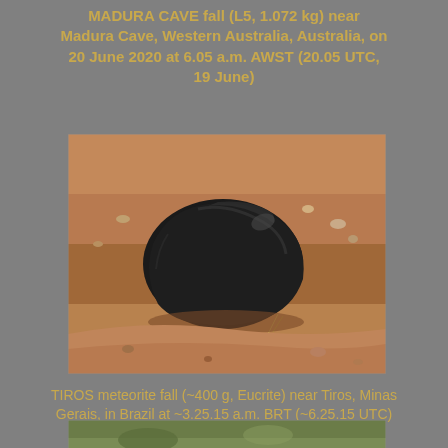MADURA CAVE fall (L5, 1.072 kg) near Madura Cave, Western Australia, Australia, on 20 June 2020 at 6.05 a.m. AWST (20.05 UTC, 19 June)
[Figure (photo): Photograph of a black meteorite with fusion crust resting on reddish-brown sandy soil in an arid landscape.]
TIROS meteorite fall (~400 g, Eucrite) near Tiros, Minas Gerais, in Brazil at ~3.25.15 a.m. BRT (~6.25.15 UTC) on 8 May 2020
[Figure (photo): Partial photograph of a meteorite or meteorite recovery scene on green/rocky ground, partially visible at bottom of page.]